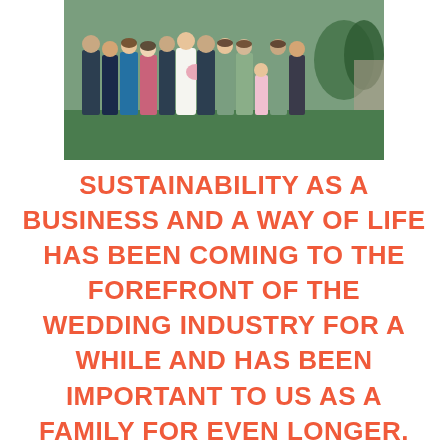[Figure (photo): Group wedding photo showing a wedding party of approximately 12 people including bride in white dress and groom, bridesmaids in sage green dresses, guests in formal attire including blue dress, pink dress, suits, standing outdoors in a garden setting.]
SUSTAINABILITY AS A BUSINESS AND A WAY OF LIFE HAS BEEN COMING TO THE FOREFRONT OF THE WEDDING INDUSTRY FOR A WHILE AND HAS BEEN IMPORTANT TO US AS A FAMILY FOR EVEN LONGER.